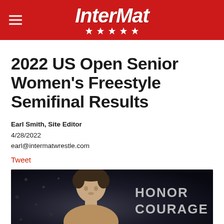InterMat
2022 US Open Senior Women's Freestyle Semifinal Results
Earl Smith, Site Editor
4/28/2022
earl@intermatwrestle.com
Tweet
[Figure (photo): Female wrestler looking forward, with 'HONOR COURAGE' text banner visible in the background. Dark arena setting.]